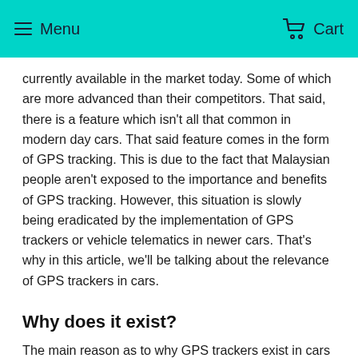Menu   Cart
currently available in the market today. Some of which are more advanced than their competitors. That said, there is a feature which isn't all that common in modern day cars. That said feature comes in the form of GPS tracking. This is due to the fact that Malaysian people aren't exposed to the importance and benefits of GPS tracking. However, this situation is slowly being eradicated by the implementation of GPS trackers or vehicle telematics in newer cars. That's why in this article, we'll be talking about the relevance of GPS trackers in cars.
Why does it exist?
The main reason as to why GPS trackers exist in cars comes down to the fact that the rate of Grand Theft Auto (GTA) is increasing at an abnormal rate. With this, car owners are getting more and more worried and thus taking defensive actions. This can mean different things for different individuals. Some would add rudimental